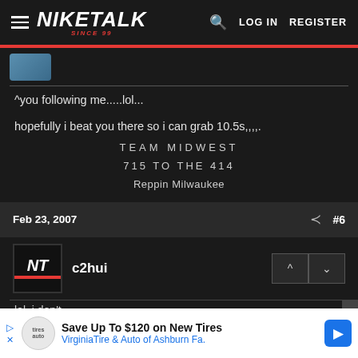NIKETALK SINCE 99 — LOG IN REGISTER
^you following me.....lol...
hopefully i beat you there so i can grab 10.5s,.....
TEAM MIDWEST
715 TO THE 414
Reppin Milwaukee
Feb 23, 2007  #6
c2hui
lol, i don't...
Save Up To $120 on New Tires
VirginiaTire & Auto of Ashburn Fa.